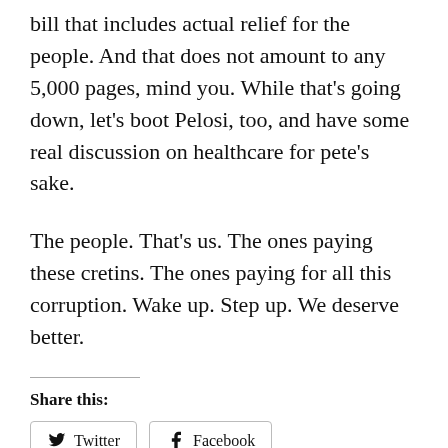bill that includes actual relief for the people. And that does not amount to any 5,000 pages, mind you. While that's going down, let's boot Pelosi, too, and have some real discussion on healthcare for pete's sake.
The people. That's us. The ones paying these cretins. The ones paying for all this corruption. Wake up. Step up. We deserve better.
Share this:
Twitter
Facebook
Loading...